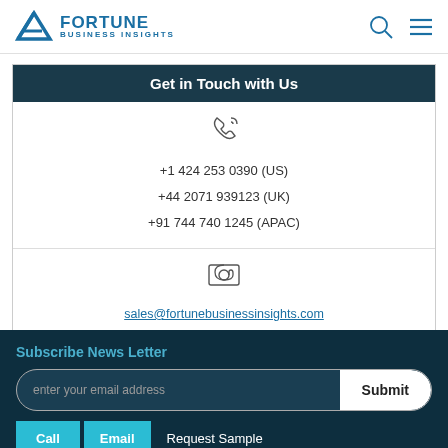Fortune Business Insights
Get in Touch with Us
+1 424 253 0390 (US)
+44 2071 939123 (UK)
+91 744 740 1245 (APAC)
sales@fortunebusinessinsights.com
Subscribe News Letter
enter your email address
Submit
Call | Email | Request Sample